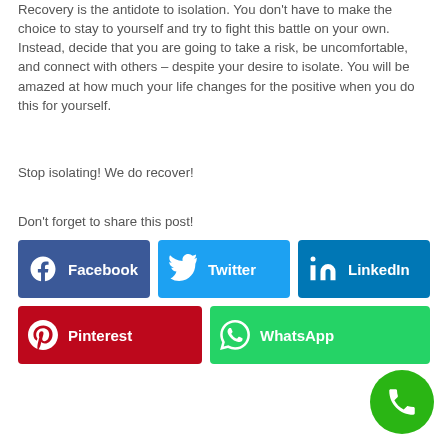Recovery is the antidote to isolation. You don't have to make the choice to stay to yourself and try to fight this battle on your own. Instead, decide that you are going to take a risk, be uncomfortable, and connect with others – despite your desire to isolate. You will be amazed at how much your life changes for the positive when you do this for yourself.
Stop isolating! We do recover!
Don't forget to share this post!
[Figure (infographic): Social share buttons: Facebook (dark blue), Twitter (light blue), LinkedIn (dark blue), Pinterest (red), WhatsApp (green), and a green phone call floating button.]